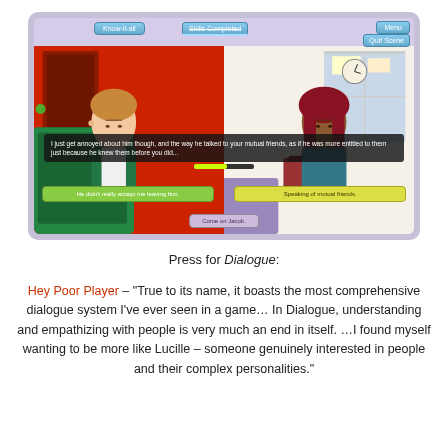[Figure (screenshot): Screenshot of a visual novel / dialogue game showing two animated characters in a room. Left character is a light-skinned person with blond-brown hair in a green jacket seated in a chair. Right character is a dark-skinned woman with long red hair wearing a teal top. A dialogue box reads: 'I just get annoyed about him though, and the way he talked to your mutual friends, as if he was more entitled to them just because he knew them before you did...' Two choice buttons at bottom: 'He didn't really accept me leaving him.' and 'Speaking of mutual friends.' A center button reads 'Come on Jacob.' Top bar has 'Know-it-all', skills/completed bar, 'Menu' and 'Quit Scene' buttons.]
Press for Dialogue:
Hey Poor Player – "True to its name, it boasts the most comprehensive dialogue system I've ever seen in a game… In Dialogue, understanding and empathizing with people is very much an end in itself. …I found myself wanting to be more like Lucille – someone genuinely interested in people and their complex personalities."